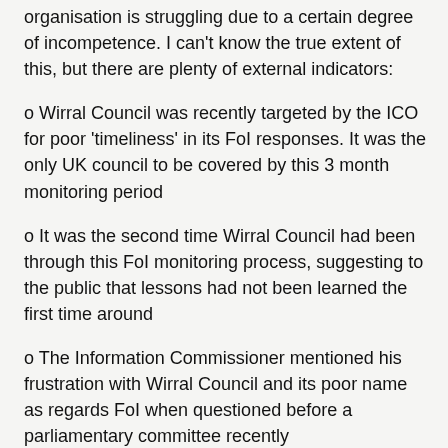organisation is struggling due to a certain degree of incompetence. I can't know the true extent of this, but there are plenty of external indicators:
o Wirral Council was recently targeted by the ICO for poor 'timeliness' in its FoI responses. It was the only UK council to be covered by this 3 month monitoring period
o It was the second time Wirral Council had been through this FoI monitoring process, suggesting to the public that lessons had not been learned the first time around
o The Information Commissioner mentioned his frustration with Wirral Council and its poor name as regards FoI when questioned before a parliamentary committee recently
o The link I sent to you (created by the council itself)